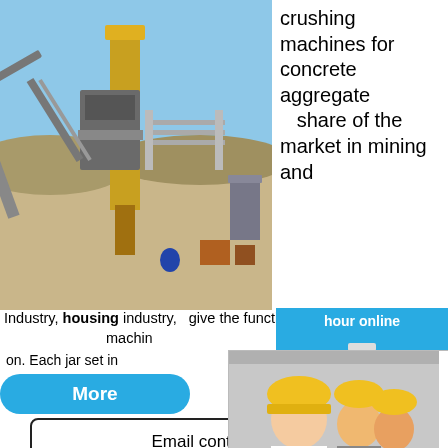[Figure (photo): Mining/aggregate crushing plant with conveyor belts and yellow equipment against a blue sky]
crushing machines for concrete aggregate
  share of the market in mining and
Industry, housing industry, give the functions of a grinding machine on. Each jar set in
[Figure (screenshot): Live chat popup overlay with workers in hard hats, red LIVE CHAT title, Chat now and Chat later buttons]
hour online
[Figure (photo): Industrial cone crusher machine image in blue sidebar]
Click me to chat>>
Enquiry
mumumugoods
More
Email contact
crusher   mining co
in south africa   rec
resin coated zircon
of mines in oman   jaw crushers th
industry   Black And Decker Vibro
Grinder Manual   sedibeng iron or
sativa seed oil mill machine   coal